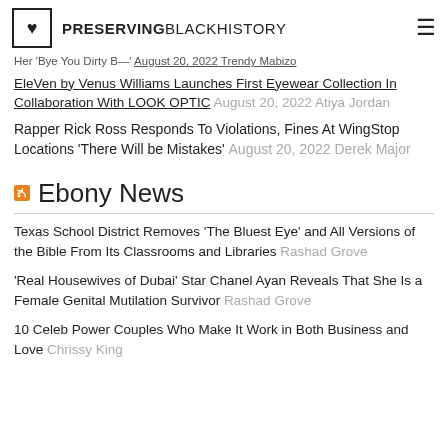PRESERVINGBLACKHISTORY
Her 'Bye You Dirty B—' August 20, 2022 Trendy Mabizo
EleVen by Venus Williams Launches First Eyewear Collection In Collaboration With LOOK OPTIC August 20, 2022 Atiya Jordan
Rapper Rick Ross Responds To Violations, Fines At WingStop Locations 'There Will be Mistakes' August 20, 2022 Derek Major
Ebony News
Texas School District Removes 'The Bluest Eye' and All Versions of the Bible From Its Classrooms and Libraries Rashad Grove
'Real Housewives of Dubai' Star Chanel Ayan Reveals That She Is a Female Genital Mutilation Survivor Rashad Grove
10 Celeb Power Couples Who Make It Work in Both Business and Love Chrissy King